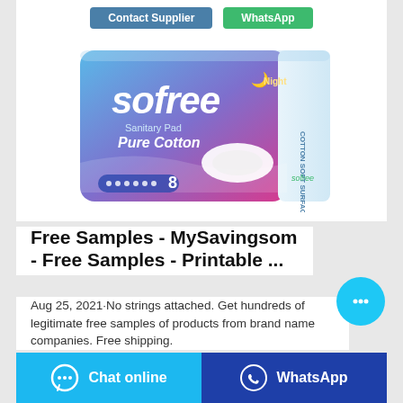[Figure (screenshot): Top buttons: Contact Supplier (teal/blue) and WhatsApp (green)]
[Figure (photo): Sofree Sanitary Pad Pure Cotton Night product packaging - blue and pink gradient with white pad image and 8 count]
Free Samples - MySavingsom - Free Samples - Printable ...
Aug 25, 2021·No strings attached. Get hundreds of legitimate free samples of products from brand name companies. Free shipping.
[Figure (screenshot): Bottom bar with Chat online button (light blue) and WhatsApp button (dark blue)]